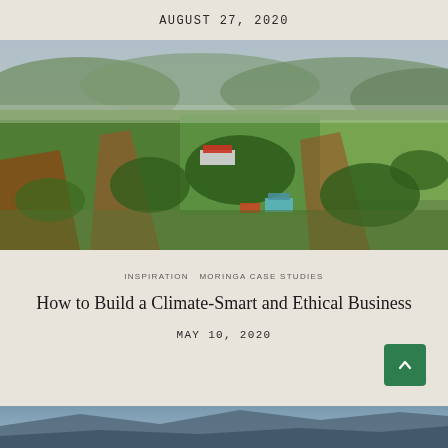AUGUST 27, 2020
[Figure (photo): Aerial drone photograph of a large agricultural landscape with green fields, red-soil paths, trees, and farm buildings in Africa]
INSPIRATION  MORINGA CASE STUDIES
How to Build a Climate-Smart and Ethical Business
MAY 10, 2020
[Figure (photo): Partial view of a mountainous landscape, bottom of page]